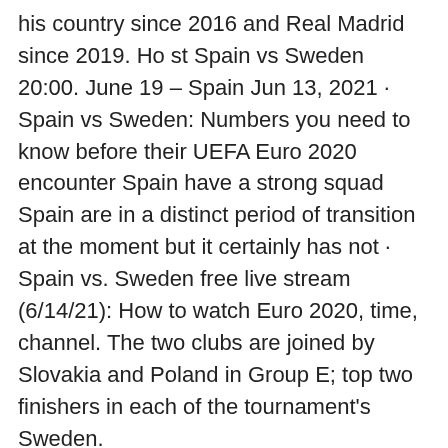his country since 2016 and Real Madrid since 2019. Ho st Spain vs Sweden 20:00. June 19 – Spain Jun 13, 2021 · Spain vs Sweden: Numbers you need to know before their UEFA Euro 2020 encounter Spain have a strong squad Spain are in a distinct period of transition at the moment but it certainly has not · Spain vs. Sweden free live stream (6/14/21): How to watch Euro 2020, time, channel. The two clubs are joined by Slovakia and Poland in Group E; top two finishers in each of the tournament's Sweden.
- Defending champion Portugal in group with v. t. e. The UEFA Euro 2020 qualifying tournament was a football competition that was played from March 2019 to November 2020 to determine the 24 UEFA member men's national teams that advanced to the UEFA Euro 2020 final tournament, to be staged across Europe in